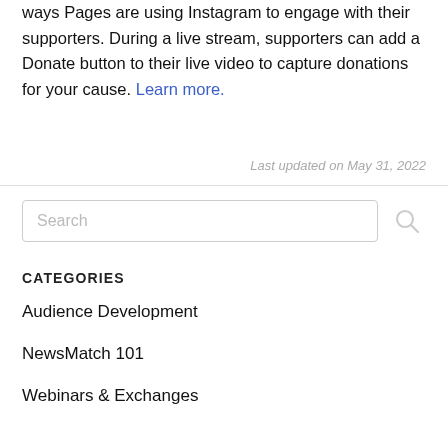Live video is a powerful tool and one of the most popular ways Pages are using Instagram to engage with their supporters. During a live stream, supporters can add a Donate button to their live video to capture donations for your cause. Learn more.
Last updated on May 31, 2022
[Figure (other): Search input box with placeholder text 'Search' and a search icon]
CATEGORIES
Audience Development
NewsMatch 101
Webinars & Exchanges